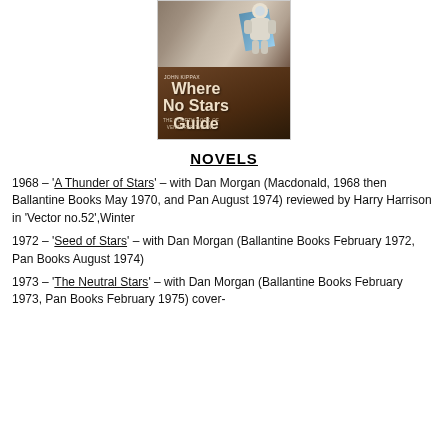[Figure (photo): Book cover of 'Where No Stars Guide' by John Kippax, subtitled 'The Fourth Book of Venturer Twelve'. Brown textured cover with an astronaut figure and a blue panel in the upper portion, large white bold title text.]
NOVELS
1968 – 'A Thunder of Stars' – with Dan Morgan (Macdonald, 1968 then Ballantine Books May 1970, and Pan August 1974) reviewed by Harry Harrison in 'Vector no.52',Winter
1972 – 'Seed of Stars' – with Dan Morgan (Ballantine Books February 1972, Pan Books August 1974)
1973 – 'The Neutral Stars' – with Dan Morgan (Ballantine Books February 1973, Pan Books February 1975) cover-